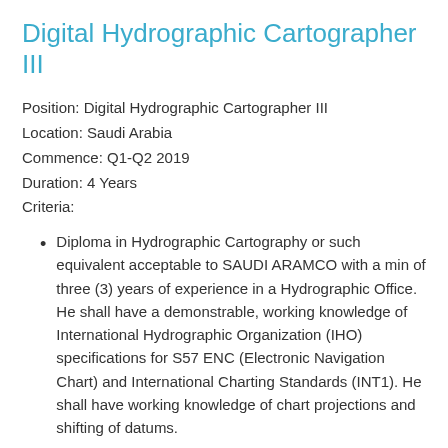Digital Hydrographic Cartographer III
Position: Digital Hydrographic Cartographer III
Location: Saudi Arabia
Commence: Q1-Q2 2019
Duration: 4 Years
Criteria:
Diploma in Hydrographic Cartography or such equivalent acceptable to SAUDI ARAMCO with a min of three (3) years of experience in a Hydrographic Office. He shall have a demonstrable, working knowledge of International Hydrographic Organization (IHO) specifications for S57 ENC (Electronic Navigation Chart) and International Charting Standards (INT1). He shall have working knowledge of chart projections and shifting of datums.
Please submit application together with the following details to sikom@fusemail.com: